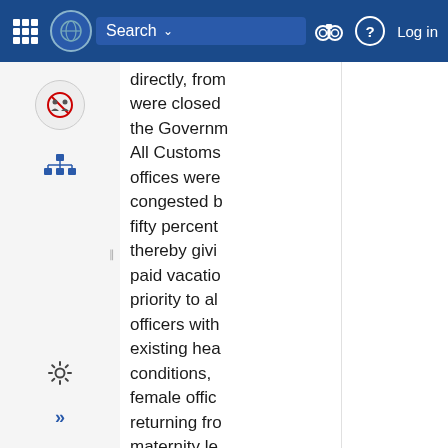Search  Log in
directly, both were closed by the Government. All Customs offices were congested by fifty percent, thereby giving paid vacation priority to all officers with existing health conditions, female officers returning from maternity leave, older officers, etc. This has allowed for border officers remain open